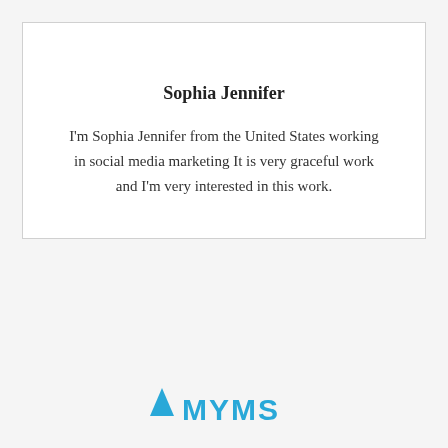Sophia Jennifer
I'm Sophia Jennifer from the United States working in social media marketing It is very graceful work and I'm very interested in this work.
[Figure (logo): Partial logo at the bottom of the page with a blue triangle/chevron icon and stylized text partially visible]